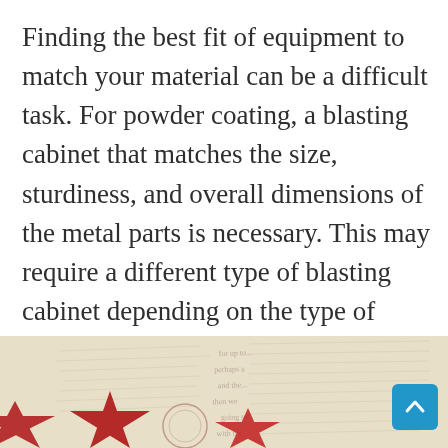Finding the best fit of equipment to match your material can be a difficult task. For powder coating, a blasting cabinet that matches the size, sturdiness, and overall dimensions of the metal parts is necessary. This may require a different type of blasting cabinet depending on the type of materials you have, but always remember that a customized blasting cabinet is an option. Explore these possibilities and get the job done in no time!
[Figure (photo): Bottom portion of a decorative background image showing red stars on a vintage/aged document or letter background, with handwritten cursive text visible. A blue 'back to top' button with an upward chevron arrow is overlaid in the bottom-right corner.]